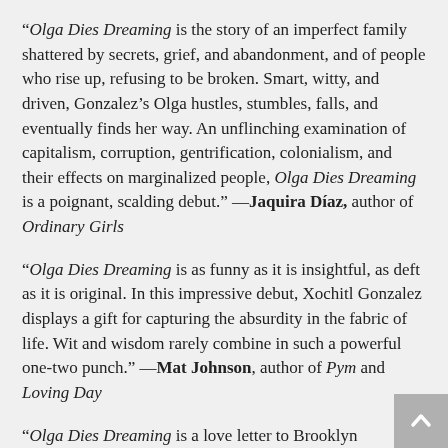“Olga Dies Dreaming is the story of an imperfect family shattered by secrets, grief, and abandonment, and of people who rise up, refusing to be broken. Smart, witty, and driven, Gonzalez’s Olga hustles, stumbles, falls, and eventually finds her way. An unflinching examination of capitalism, corruption, gentrification, colonialism, and their effects on marginalized people, Olga Dies Dreaming is a poignant, scalding debut.” —Jaquira Díaz, author of Ordinary Girls
“Olga Dies Dreaming is as funny as it is insightful, as deft as it is original. In this impressive debut, Xochitl Gonzalez displays a gift for capturing the absurdity in the fabric of life. Wit and wisdom rarely combine in such a powerful one-two punch.” —Mat Johnson, author of Pym and Loving Day
“Olga Dies Dreaming is a love letter to Brooklyn brimming with the best music, with dreams and sorrows—the stuff of real life. At turns hilarious and heartbreaking, Gonzalez gives us a gripping novel about community, family, betrayal, and the complicated inheritance of diaspora—a wild and ambitious saga